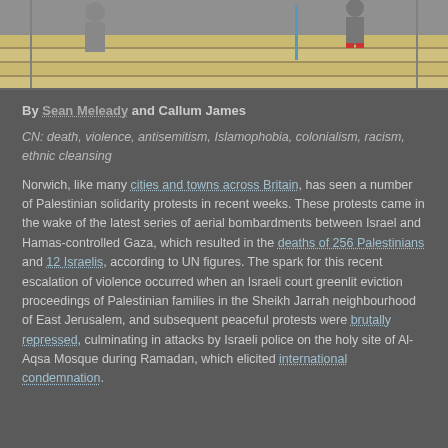[Figure (photo): A photo showing stone steps with two figures visible, one on the left and one on the right with red shoes, and a blue stick/pole in the middle area. The image is partially cropped showing only the bottom portion.]
By Sean Meleady and Callum James
CN: death, violence, antisemitism, Islamophobia, colonialism, racism, ethnic cleansing
Norwich, like many cities and towns across Britain, has seen a number of Palestinian solidarity protests in recent weeks. These protests came in the wake of the latest series of aerial bombardments between Israel and Hamas-controlled Gaza, which resulted in the deaths of 256 Palestinians and 12 Israelis, according to UN figures. The spark for this recent escalation of violence occurred when an Israeli court greenlit eviction proceedings of Palestinian families in the Sheikh Jarrah neighbourhood of East Jerusalem, and subsequent peaceful protests were brutally repressed, culminating in attacks by Israeli police on the holy site of Al-Aqsa Mosque during Ramadan, which elicited international condemnation.